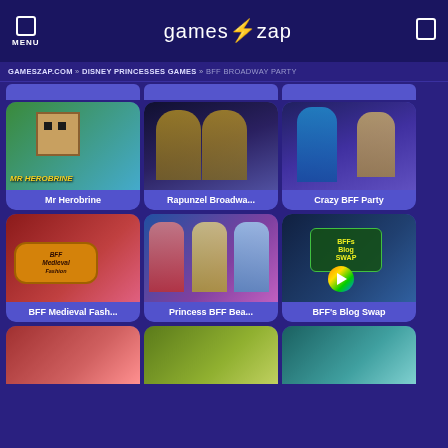MENU | gameszap | [search]
GAMESZAP.COM » DISNEY PRINCESSES GAMES » BFF BROADWAY PARTY
[Figure (screenshot): Game thumbnail for Mr Herobrine - Minecraft-style character on green background]
Mr Herobrine
[Figure (screenshot): Game thumbnail for Rapunzel Broadway - two blonde girls in dark background]
Rapunzel Broadwa...
[Figure (screenshot): Game thumbnail for Crazy BFF Party - blue-haired girl and blonde girl]
Crazy BFF Party
[Figure (screenshot): Game thumbnail for BFF Medieval Fashion - princesses in medieval dresses]
BFF Medieval Fash...
[Figure (screenshot): Game thumbnail for Princess BFF Beauty - Belle, Ariel, and Elsa]
Princess BFF Bea...
[Figure (screenshot): Game thumbnail for BFF's Blog Swap - Moana and friends with phone]
BFF's Blog Swap
[Figure (screenshot): Bottom row partial game thumbnail 1 - red/festive theme]
[Figure (screenshot): Bottom row partial game thumbnail 2 - outdoor/adventure theme]
[Figure (screenshot): Bottom row partial game thumbnail 3 - beach/tropical theme]